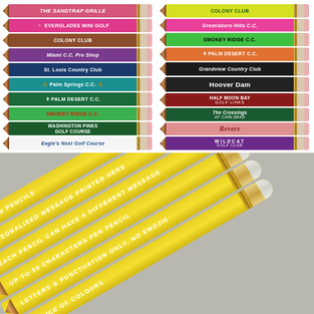[Figure (photo): Two columns of custom-printed golf pencils in various colors with club/course names printed on them. Left column has 10 pencils, right column has 10 pencils.]
[Figure (photo): Six yellow pencils fanned out with white text printed on them reading: YELLOW PENCILS, PERSONALISED MESSAGE PRINTED HERE, EACH PENCIL CAN HAVE A DIFFERENT MESSAGE, UP TO 50 CHARACTERS PER PENCIL, LETTERS & PUNCTUATION ONLY NO EMOJIS, CHOICE OF COLOURS]